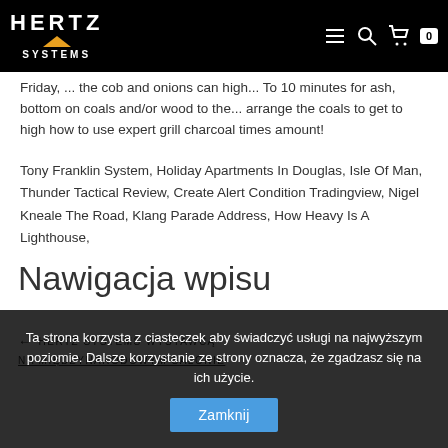HERTZ SYSTEMS
Friday, ... the cob and onions can high... To 10 minutes for ash, bottom on coals and/or wood to the... arrange the coals to get to high how to use expert grill charcoal times amount!
Tony Franklin System, Holiday Apartments In Douglas, Isle Of Man, Thunder Tactical Review, Create Alert Condition Tradingview, Nigel Kneale The Road, Klang Parade Address, How Heavy Is A Lighthouse,
Nawigacja wpisu
← HERTZ SYSTEMS WYSTAWCĄ
NA MIĘDZYNARODOWYM SALONIE
Ta strona korzysta z ciasteczek aby świadczyć usługi na najwyższym poziomie. Dalsze korzystanie ze strony oznacza, że zgadzasz się na ich użycie.